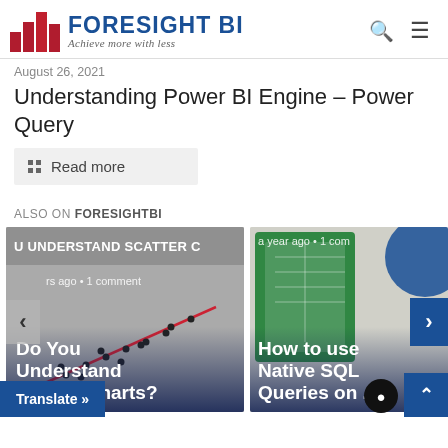[Figure (logo): Foresight BI logo with red bar chart icon and blue text, tagline 'Achieve more with less']
August 26, 2021
Understanding Power BI Engine – Power Query
Read more
ALSO ON FORESIGHTBI
[Figure (screenshot): Card showing 'DO YOU UNDERSTAND SCATTER C...' with scatter chart background, subtitle 'Do You Understand Scatter Charts?', meta '...rs ago • 1 comment']
[Figure (screenshot): Card showing Excel/SQL icon background, subtitle 'How to use Native SQL Queries on ...', meta 'a year ago • 1 com...']
Translate »